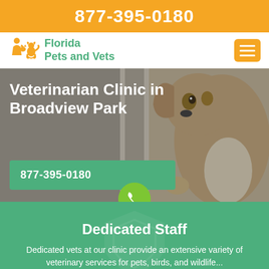877-395-0180
Florida Pets and Vets
[Figure (logo): Florida Pets and Vets logo with orange animal silhouettes (person with cat and dog)]
[Figure (photo): Background photo of a dog (Jack Russell Terrier) looking through a glass door/window. Hero banner for veterinarian clinic in Broadview Park.]
Veterinarian Clinic in Broadview Park
877-395-0180
[Figure (illustration): Green circular phone/call button icon]
Dedicated Staff
Dedicated vets at our clinic provide an extensive variety of veterinary services for pets, birds, and wildlife...